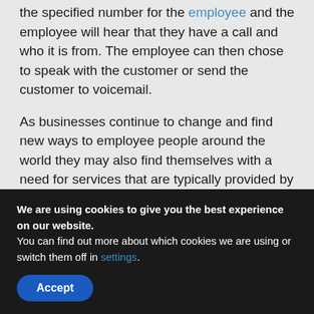the specified number for the employee and the employee will hear that they have a call and who it is from. The employee can then chose to speak with the customer or send the customer to voicemail.
As businesses continue to change and find new ways to employee people around the world they may also find themselves with a need for services that are typically provided by receptionists without the need for the actual person. This is where receptionist software can be helpful to some businesses.
Top 6 Receptionist Management
We are using cookies to give you the best experience on our website.
You can find out more about which cookies we are using or switch them off in settings.
Accept